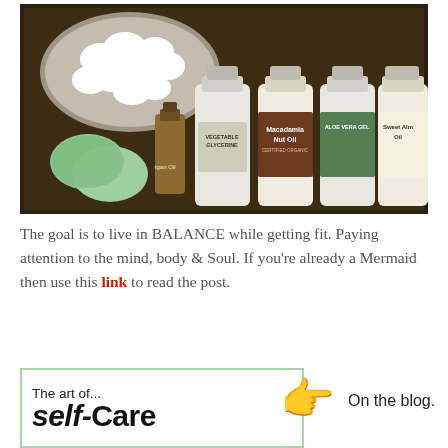[Figure (photo): A wooden tray containing cotton balls in a glass bowl, two green facial sponges, a small bottle of Argan Oil, and four large plastic bottles labeled: Vegetable Glycerine, Macadamia Nut Oil, Aloe Vera Gel, and Sweet Almond Oil.]
The goal is to live in BALANCE while getting fit. Paying attention to the mind, body & Soul. If you're already a Mermaid then use this link to read the post.
[Figure (infographic): A box with a light green border containing 'The art of...' and 'self-Care' in bold large text, next to a pointing hand emoji and the text 'On the blog.']